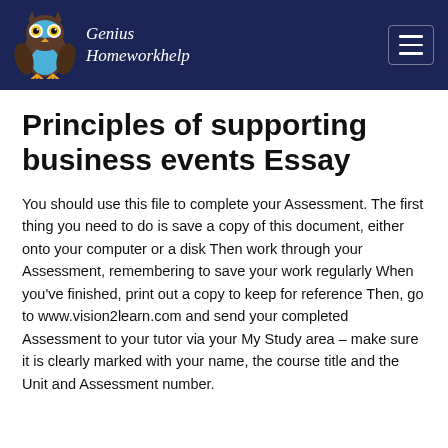Genius Homeworkhelp
Principles of supporting business events Essay
You should use this file to complete your Assessment. The first thing you need to do is save a copy of this document, either onto your computer or a disk Then work through your Assessment, remembering to save your work regularly When you've finished, print out a copy to keep for reference Then, go to www.vision2learn.com and send your completed Assessment to your tutor via your My Study area – make sure it is clearly marked with your name, the course title and the Unit and Assessment number.